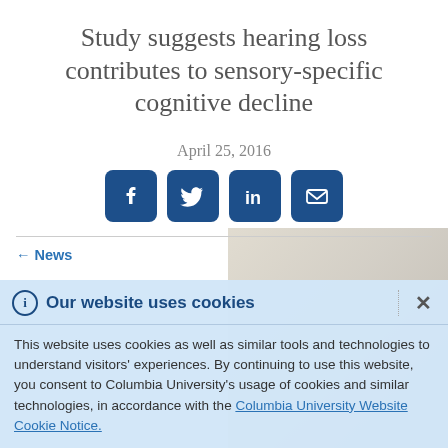Study suggests hearing loss contributes to sensory-specific cognitive decline
April 25, 2016
[Figure (infographic): Social sharing icons: Facebook, Twitter, LinkedIn, Email — each in a navy blue rounded rectangle]
← News
ⓘ  Our website uses cookies  ×
This website uses cookies as well as similar tools and technologies to understand visitors' experiences. By continuing to use this website, you consent to Columbia University's usage of cookies and similar technologies, in accordance with the Columbia University Website Cookie Notice.